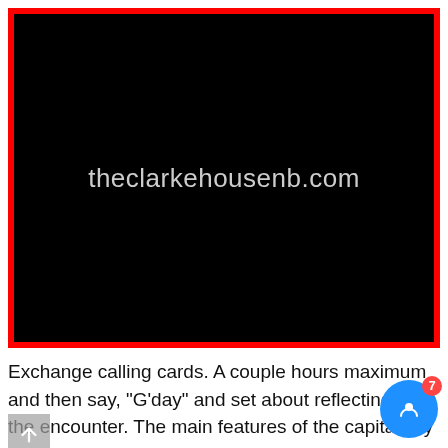[Figure (screenshot): Black background image with light gray text reading 'theclarkehousenb.com', framed by a red border]
Exchange calling cards. A couple hours maximum and then say, "G'day" and set about reflecting on the encounter. The main features of the capital city were [3] -. Wa sex chat. Local slut in Sri Jawewardenepura Kotte. N registered users can see only 1 video from the profile!